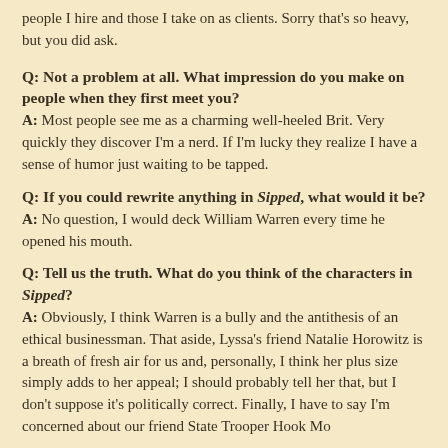people I hire and those I take on as clients. Sorry that's so heavy, but you did ask.
Q: Not a problem at all. What impression do you make on people when they first meet you?
A: Most people see me as a charming well-heeled Brit. Very quickly they discover I'm a nerd. If I'm lucky they realize I have a sense of humor just waiting to be tapped.
Q: If you could rewrite anything in Sipped, what would it be?
A: No question, I would deck William Warren every time he opened his mouth.
Q: Tell us the truth. What do you think of the characters in Sipped?
A: Obviously, I think Warren is a bully and the antithesis of an ethical businessman. That aside, Lyssa's friend Natalie Horowitz is a breath of fresh air for us and, personally, I think her plus size simply adds to her appeal; I should probably tell her that, but I don't suppose it's politically correct. Finally, I have to say I'm concerned about our friend State Trooper Hook Mo... something not right with him; the way he...